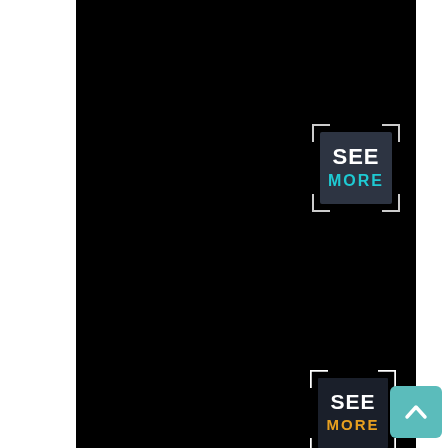[Figure (logo): SEE MORE logo badge with dark background, bracket corners, SEE in white bold text, MORE in cyan/teal text]
[Figure (logo): SEE MORE logo badge with dark background and white bracket corners, SEE in white bold text, MORE in gold/yellow text]
[Figure (other): Teal/cyan scroll-to-top button with upward chevron arrow]